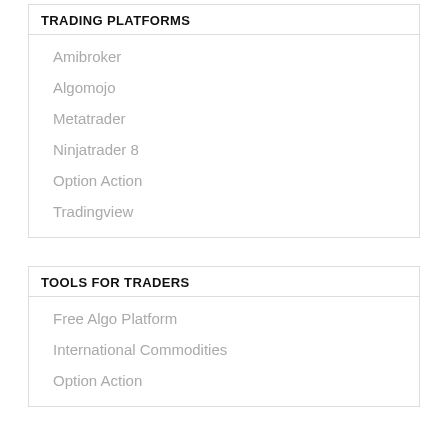TRADING PLATFORMS
Amibroker
Algomojo
Metatrader
Ninjatrader 8
Option Action
Tradingview
TOOLS FOR TRADERS
Free Algo Platform
International Commodities
Option Action